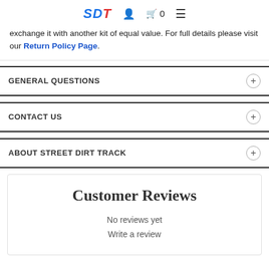SDT [logo] [user icon] [cart icon] 0 [menu icon]
exchange it with another kit of equal value. For full details please visit our Return Policy Page.
GENERAL QUESTIONS
CONTACT US
ABOUT STREET DIRT TRACK
Customer Reviews
No reviews yet
Write a review